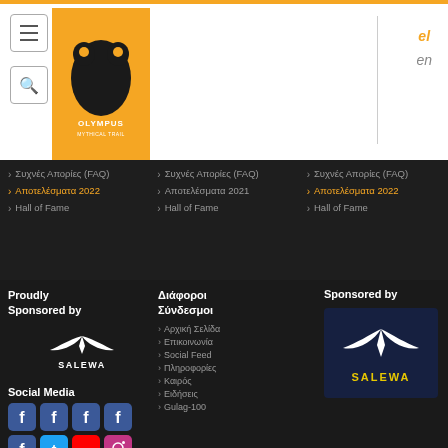Navigation header with hamburger menu, search button, Salewa Olympus Mythical Trail logo, and language switcher (el / en)
> Συχνές Απορίες (FAQ)  (column 1)
> Αποτελέσματα 2022 (column 1)
> Hall of Fame (column 1)
> Συχνές Απορίες (FAQ) (column 2)
> Αποτελέσματα 2021 (column 2)
> Hall of Fame (column 2)
> Συχνές Απορίες (FAQ) (column 3)
> Αποτελέσματα 2022 (column 3)
> Hall of Fame (column 3)
Proudly Sponsored by
[Figure (logo): Salewa logo white on dark background]
Social Media
[Figure (illustration): Facebook and social media icons row]
Διάφοροι Σύνδεσμοι
> Αρχική Σελίδα
> Επικοινωνία
> Social Feed
> Πληροφορίες
> Καιρός
> Ειδήσεις
> Gulag-100
Sponsored by
[Figure (logo): Salewa logo on dark navy blue background]